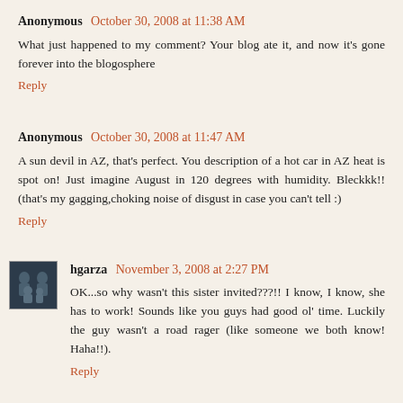Anonymous October 30, 2008 at 11:38 AM
What just happened to my comment? Your blog ate it, and now it's gone forever into the blogosphere
Reply
Anonymous October 30, 2008 at 11:47 AM
A sun devil in AZ, that's perfect. You description of a hot car in AZ heat is spot on! Just imagine August in 120 degrees with humidity. Bleckkk!! (that's my gagging,choking noise of disgust in case you can't tell :)
Reply
hgarza November 3, 2008 at 2:27 PM
OK...so why wasn't this sister invited???!! I know, I know, she has to work! Sounds like you guys had good ol' time. Luckily the guy wasn't a road rager (like someone we both know! Haha!!).
Reply